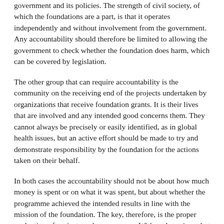government and its policies. The strength of civil society, of which the foundations are a part, is that it operates independently and without involvement from the government. Any accountability should therefore be limited to allowing the government to check whether the foundation does harm, which can be covered by legislation.
The other group that can require accountability is the community on the receiving end of the projects undertaken by organizations that receive foundation grants. It is their lives that are involved and any intended good concerns them. They cannot always be precisely or easily identified, as in global health issues, but an active effort should be made to try and demonstrate responsibility by the foundation for the actions taken on their behalf.
In both cases the accountability should not be about how much money is spent or on what it was spent, but about whether the programme achieved the intended results in line with the mission of the foundation. The key, therefore, is the proper evaluation of projects and programmes. Without knowing what the results are, it